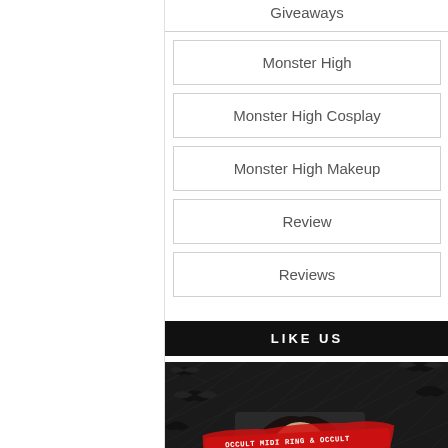Giveaways
Monster High
Monster High Cosplay
Monster High Makeup
Review
Reviews
LIKE US
[Figure (photo): Photo of a woman with dark eye makeup in front of a black and white bat-patterned background. A red banner reads 'OCCULT MIDI RING & OCCULT RING!' in white text.]